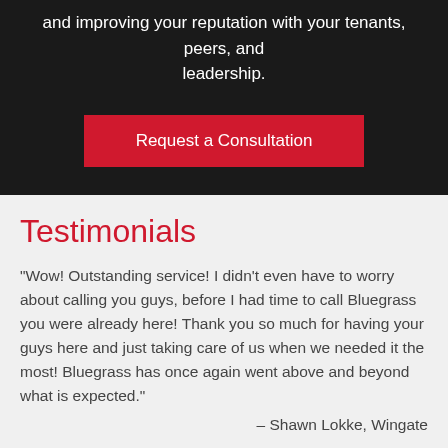and improving your reputation with your tenants, peers, and leadership.
Request a Consultation
Testimonials
"Wow! Outstanding service! I didn't even have to worry about calling you guys, before I had time to call Bluegrass you were already here! Thank you so much for having your guys here and just taking care of us when we needed it the most! Bluegrass has once again went above and beyond what is expected."
– Shawn Lokke, Wingate